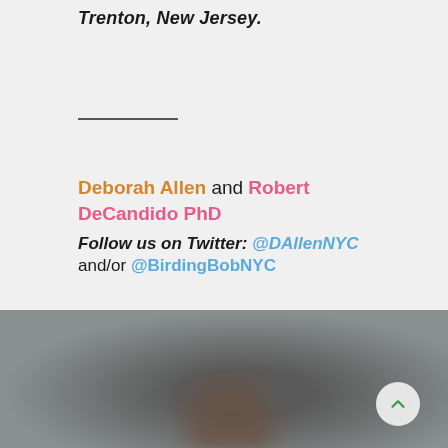Trenton, New Jersey.
Deborah Allen and Robert DeCandido PhD
Follow us on Twitter: @DAllenNYC and/or @BirdingBobNYC
[Figure (photo): Blurred grey/muted photo of a bird, partially visible at bottom of page]